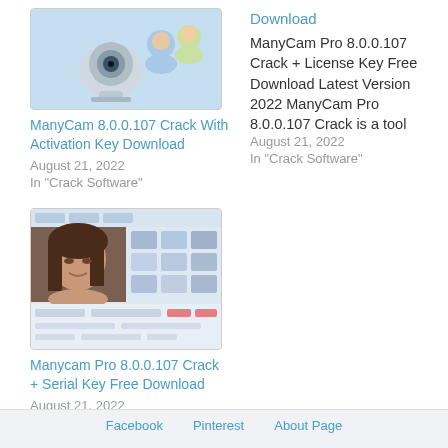[Figure (screenshot): Thumbnail image of ManyCam software icon with webcam and people icons on blue/grey background]
ManyCam 8.0.0.107 Crack With Activation Key Download
August 21, 2022
In "Crack Software"
Download ManyCam Pro 8.0.0.107 Crack + License Key Free Download Latest Version 2022 ManyCam Pro 8.0.0.107 Crack is a tool
August 21, 2022
In "Crack Software"
[Figure (screenshot): Screenshot of ManyCam Pro software interface showing webcam feed of a woman with brown hair and software UI panels]
Manycam Pro 8.0.0.107 Crack + Serial Key Free Download
August 21, 2022
In "PC Softwares"
Footer bar with navigation links